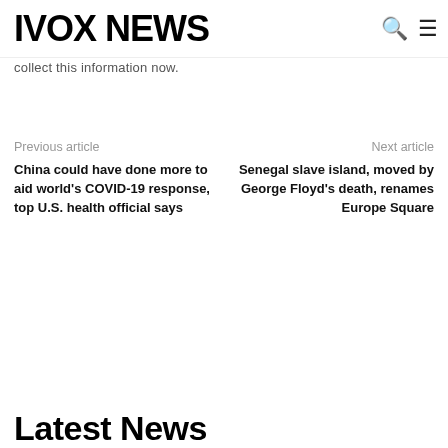IVOX NEWS
collect this information now.
Previous article
China could have done more to aid world's COVID-19 response, top U.S. health official says
Next article
Senegal slave island, moved by George Floyd's death, renames Europe Square
Latest News